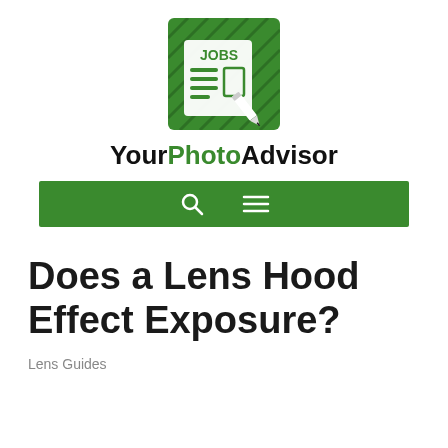[Figure (logo): YourPhotoAdvisor logo: green square with white newspaper/jobs icon showing JOBS text and lines with a pencil]
YourPhotoAdvisor
[Figure (screenshot): Green navigation bar with search (magnifying glass) and hamburger menu icons]
Does a Lens Hood Effect Exposure?
Lens Guides